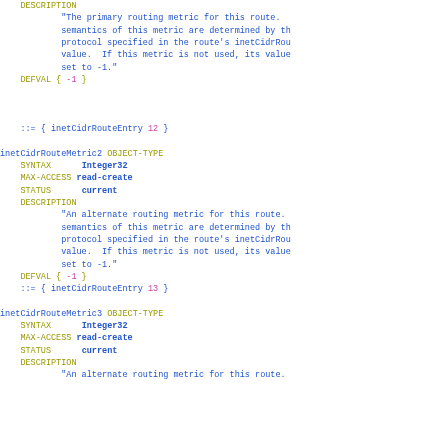DESCRIPTION
"The primary routing metric for this route. semantics of this metric are determined by the protocol specified in the route's inetCidrRou value. If this metric is not used, its value set to -1."
DEFVAL { -1 }

::= { inetCidrRouteEntry 12 }

inetCidrRouteMetric2 OBJECT-TYPE
    SYNTAX      Integer32
    MAX-ACCESS  read-create
    STATUS      current
    DESCRIPTION
            "An alternate routing metric for this route. semantics of this metric are determined by the protocol specified in the route's inetCidrRou value. If this metric is not used, its value set to -1."
    DEFVAL { -1 }
    ::= { inetCidrRouteEntry 13 }

inetCidrRouteMetric3 OBJECT-TYPE
    SYNTAX      Integer32
    MAX-ACCESS  read-create
    STATUS      current
    DESCRIPTION
            "An alternate routing metric for this route.